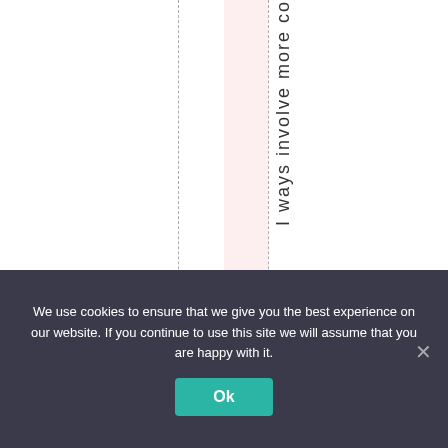[Figure (other): A document layout view showing a pink highlighted column strip between two dashed vertical lines, with vertical text reading 'I ways involve more co' running downward along the right dashed line.]
We use cookies to ensure that we give you the best experience on our website. If you continue to use this site we will assume that you are happy with it.
Ok